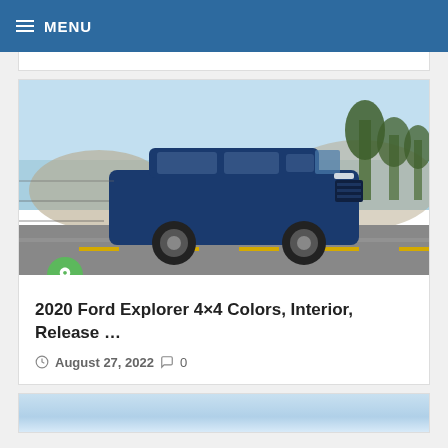☰ MENU
[Figure (photo): Blue Ford Explorer SUV driving on a road with trees in the background, clear sky]
2020 Ford Explorer 4×4 Colors, Interior, Release …
August 27, 2022   0